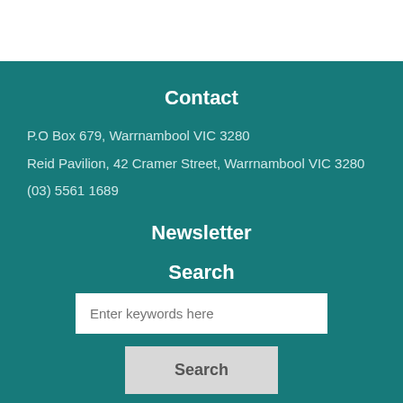Contact
P.O Box 679, Warrnambool VIC 3280
Reid Pavilion, 42 Cramer Street, Warrnambool VIC 3280
(03) 5561 1689
Newsletter
Search
Enter keywords here
Search